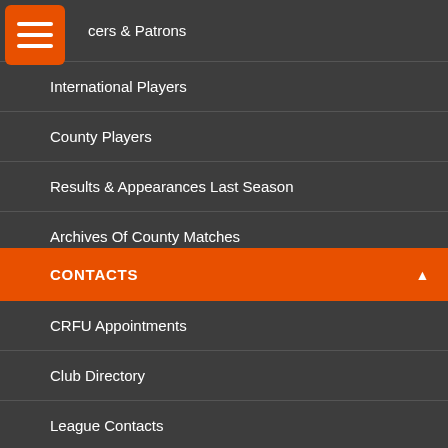cers & Patrons
International Players
County Players
Results & Appearances Last Season
Archives Of County Matches
CONTACTS
CRFU Appointments
Club Directory
League Contacts
RFU Staff
ENGLAND RUGBY DEVELOPMENT TEAM